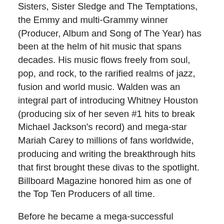Sisters, Sister Sledge and The Temptations, the Emmy and multi-Grammy winner (Producer, Album and Song of The Year) has been at the helm of hit music that spans decades. His music flows freely from soul, pop, and rock, to the rarified realms of jazz, fusion and world music. Walden was an integral part of introducing Whitney Houston (producing six of her seven #1 hits to break Michael Jackson's record) and mega-star Mariah Carey to millions of fans worldwide, producing and writing the breakthrough hits that first brought these divas to the spotlight. Billboard Magazine honored him as one of the Top Ten Producers of all time.
Before he became a mega-successful producer with hits constantly dominating the R&B and pop charts, Walden burst on the music scene as a virtuoso drummer with the groundbreaking jazz-rock fusion band Mahavishnu Orchestra. Soon after, his impeccable rhythmic chops and inveterate creativity made him a first-call drummer and collaborator for other instrumental heavyweights such as Jeff Beck,